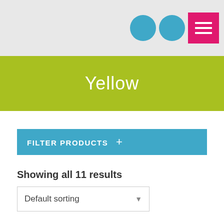[Figure (screenshot): Header navigation bar with two teal circular icons and a pink/magenta hamburger menu button on a light gray background]
Yellow
FILTER PRODUCTS +
Showing all 11 results
Default sorting